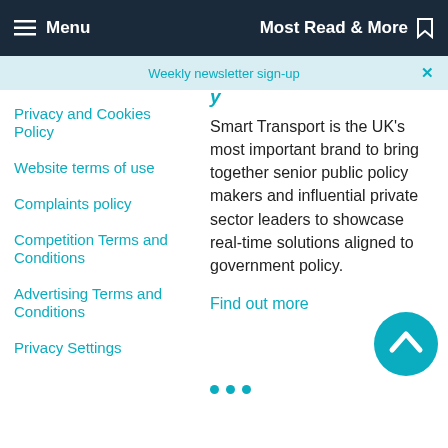Menu   Most Read & More
Weekly newsletter sign-up
Privacy and Cookies Policy
Website terms of use
Complaints policy
Competition Terms and Conditions
Advertising Terms and Conditions
Privacy Settings
Smart Transport is the UK's most important brand to bring together senior public policy makers and influential private sector leaders to showcase real-time solutions aligned to government policy.
Find out more